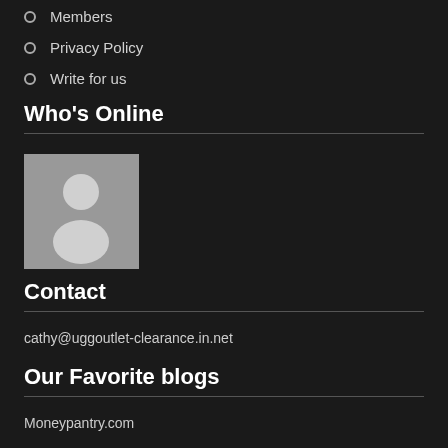Members
Privacy Policy
Write for us
Who's Online
[Figure (illustration): Generic user avatar placeholder icon — a grey silhouette of a person on a grey background square]
Contact
cathy@uggoutlet-clearance.in.net
Our Favorite blogs
Moneypantry.com